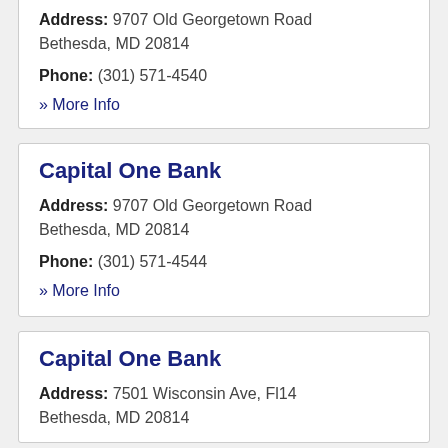Address: 9707 Old Georgetown Road Bethesda, MD 20814
Phone: (301) 571-4540
» More Info
Capital One Bank
Address: 9707 Old Georgetown Road Bethesda, MD 20814
Phone: (301) 571-4544
» More Info
Capital One Bank
Address: 7501 Wisconsin Ave, Fl14 Bethesda, MD 20814